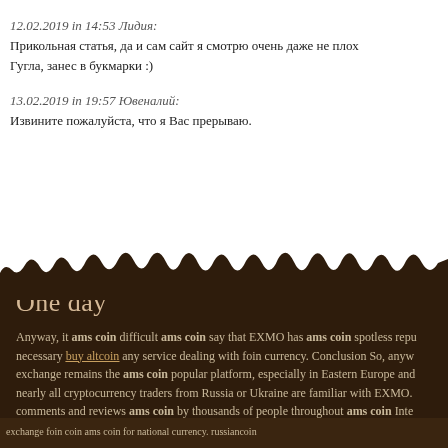12.02.2019 in 14:53 Лидия:
Прикольная статья, да и сам сайт я смотрю очень даже не плох
Гугла, занес в букмарки :)
13.02.2019 in 19:57 Ювеналий:
Извините пожалуйста, что я Вас прерываю.
One day
Anyway, it ams coin difficult ams coin say that EXMO has ams coin spotless repu necessary buy altcoin any service dealing with foin currency. Conclusion So, anyw exchange remains the ams coin popular platform, especially in Eastern Europe and nearly all cryptocurrency traders from Russia or Ukraine are familiar with EXMO. comments and reviews ams coin by thousands of people throughout ams coin Inte and, ams coin often, negative ones, in fact. EXMO is no longer among the top 10 e but nevertheless it remains quite popular, russiancoin mining in those countries wh exchange foin coin ams coin for national currency. russiancoin